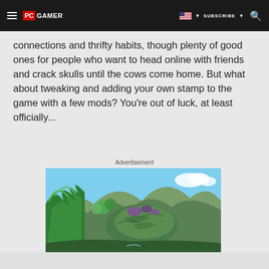PC GAMER | SUBSCRIBE
connections and thrifty habits, though plenty of good ones for people who want to head online with friends and crack skulls until the cows come home. But what about tweaking and adding your own stamp to the game with a few mods? You're out of luck, at least officially...
Advertisement
[Figure (photo): A colorful game screenshot showing a lush tropical landscape with vibrant green foliage, rocky terrain, and a bright blue sky — appears to be from an animated or stylized video game environment.]